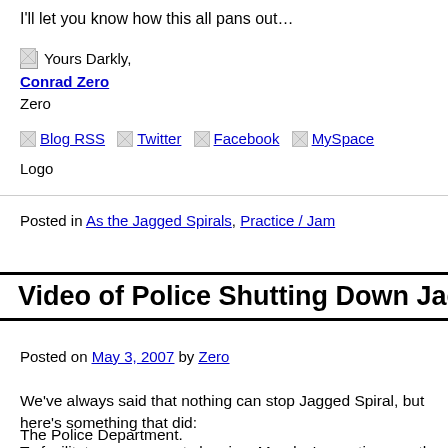I'll let you know how this all pans out…
Yours Darkly, Conrad Zero
[Figure (other): Broken image placeholder for Conrad Zero signature/logo]
Blog RSS  Twitter  Facebook  MySpace
Posted in As the Jagged Spirals, Practice / Jam
Video of Police Shutting Down Jagged Spiral
Posted on May 3, 2007 by Zero
We've always said that nothing can stop Jagged Spiral, but here's something that did:
The Police Department.
To facilitate some carpet cleaning, Monday's practice was the garage, and it was obvious that we would be heard, b